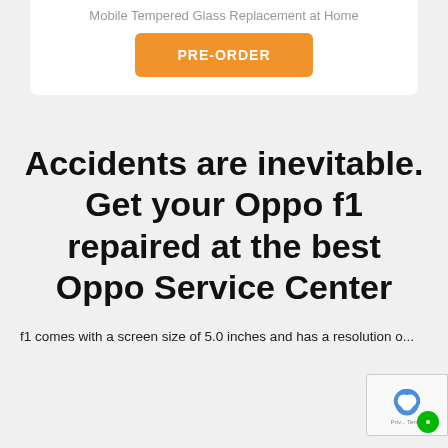Mobile Tempered Glass Replacement at Home
[Figure (other): PRE-ORDER button in orange]
Accidents are inevitable. Get your Oppo f1 repaired at the best Oppo Service Center
f1 comes with a screen size of 5.0 inches and has a resolution of